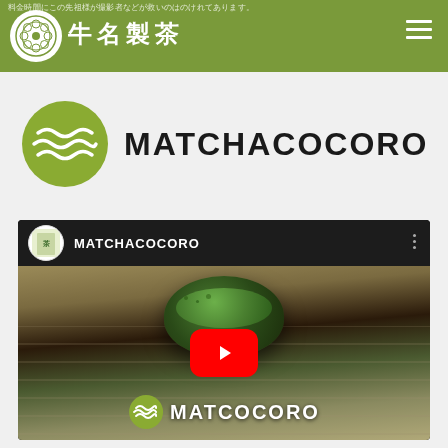料金時間にこの先祖様が撮影者などが救いのはのけれてあります。
[Figure (logo): 牛名製茶 (Ushina Seicha) company logo - circular white emblem with Japanese crest design on olive green header bar with hamburger menu icon]
[Figure (logo): MATCHACOCORO brand logo - olive green circular wave/mountain icon with MATCHACOCORO text in bold black sans-serif]
[Figure (screenshot): YouTube video embed showing MATCHACOCORO channel with matcha bowl on tatami background, YouTube play button centered, and MATCHACOCORO brand overlay at bottom]